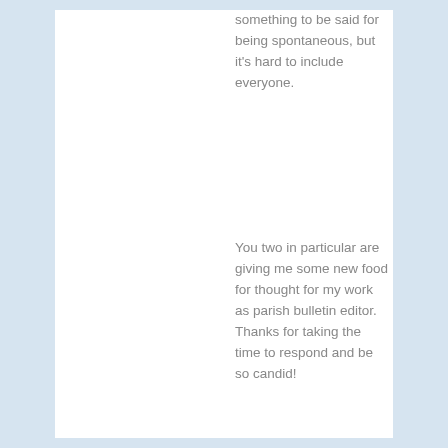something to be said for being spontaneous, but it's hard to include everyone.
You two in particular are giving me some new food for thought for my work as parish bulletin editor. Thanks for taking the time to respond and be so candid!